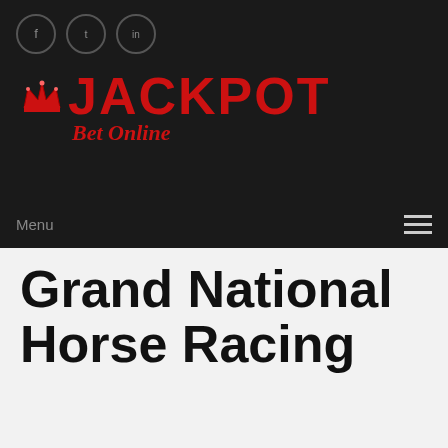[Figure (logo): Jackpot Bet Online logo with crown icon, red text JACKPOT in large bold font, and 'Bet Online' in italic below]
Menu
Grand National Horse Racing